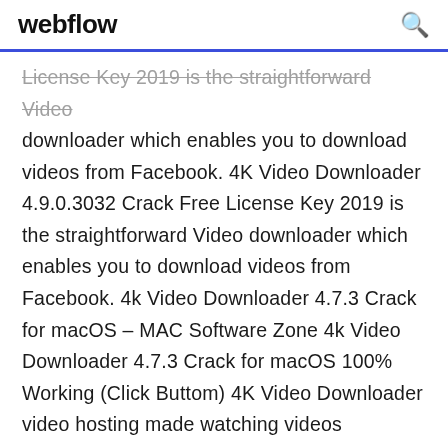webflow
License Key 2019 is the straightforward Video downloader which enables you to download videos from Facebook. 4K Video Downloader 4.9.0.3032 Crack Free License Key 2019 is the straightforward Video downloader which enables you to download videos from Facebook. 4k Video Downloader 4.7.3 Crack for macOS – MAC Software Zone 4k Video Downloader 4.7.3 Crack for macOS 100% Working (Click Buttom) 4K Video Downloader video hosting made watching videos convenient and widely available, but there are obvious disadvantages. 4k Video Downloader 4.7.3.2742 + Portable Latest Version ... 4k Video Downloader 4.7.3.2742 + Portable Latest Version